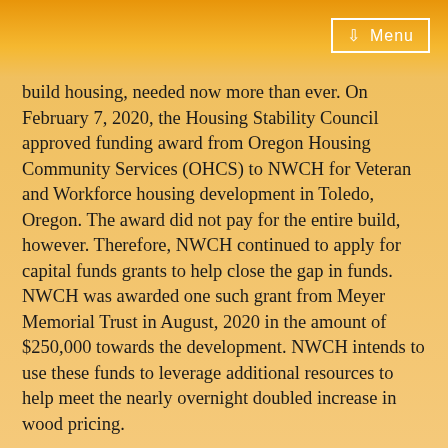Menu
build housing, needed now more than ever.  On February 7, 2020, the Housing Stability Council approved funding award from Oregon Housing Community Services (OHCS) to NWCH for Veteran and Workforce housing development in Toledo, Oregon.  The award did not pay for the entire build, however.  Therefore, NWCH continued to apply for capital funds grants to help close the gap in funds.  NWCH was awarded one such grant from Meyer Memorial Trust in August, 2020 in the amount of $250,000 towards the development. NWCH intends to use these funds to leverage additional resources to help meet the nearly overnight doubled increase in wood pricing.
NWCH is a Community Development Corporation (CDC) in Lincoln County, a nonprofit affordable housing developer since 1991.  Sheila Stiley, Executive Director for NWCH anticipates ground breaking on the 11 unit complex between late Spring and early Summer 2021 with an